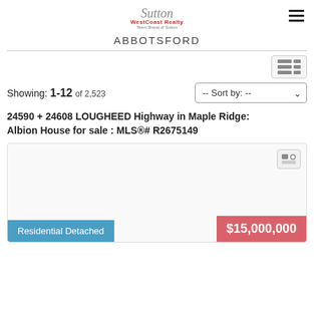Sutton West Coast Realty - ABBOTSFORD
Showing: 1-12 of 2,523
24590 + 24608 LOUGHEED Highway in Maple Ridge: Albion House for sale : MLS®# R2675149
[Figure (screenshot): Listing card with Residential Detached badge and $15,000,000 price badge on a light grey background with a contact/photo icon button in the top right corner.]